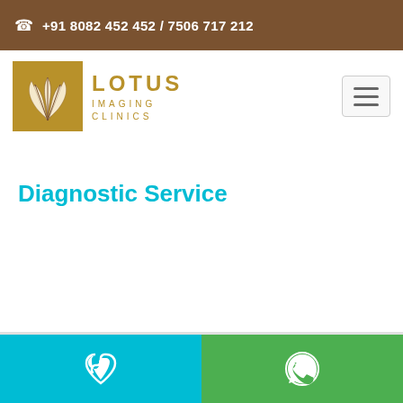📞  +91 8082 452 452 / 7506 717 212
[Figure (logo): Lotus Imaging Clinics logo with golden lotus flower icon and text]
Diagnostic Service
Call button and WhatsApp button